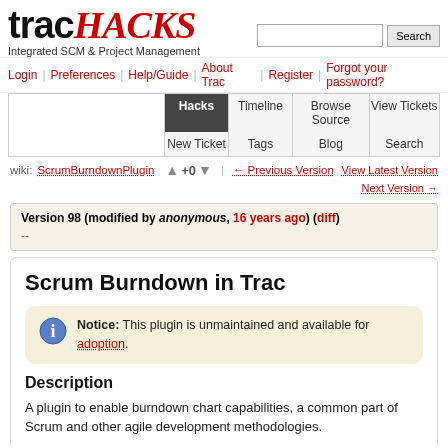[Figure (logo): TracHacks logo with 'trac' in black bold and 'HACKS' in red italic stylized font, with tagline 'Integrated SCM & Project Management']
Login | Preferences | Help/Guide | About Trac | Register | Forgot your password?
Hacks | Timeline | Browse Source | View Tickets | New Ticket | Tags | Blog | Search
wiki: ScrumBurndownPlugin  +0  ← Previous Version | View Latest Version | Next Version →
Version 98 (modified by anonymous, 16 years ago) (diff)
--
Scrum Burndown in Trac
Notice: This plugin is unmaintained and available for adoption.
Description
A plugin to enable burndown chart capabilities, a common part of Scrum and other agile development methodologies.